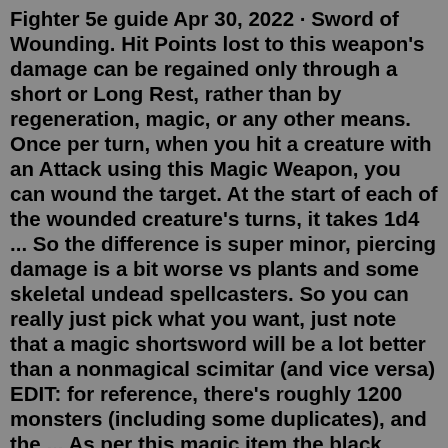Fighter 5e guide Apr 30, 2022 · Sword of Wounding. Hit Points lost to this weapon's damage can be regained only through a short or Long Rest, rather than by regeneration, magic, or any other means. Once per turn, when you hit a creature with an Attack using this Magic Weapon, you can wound the target. At the start of each of the wounded creature's turns, it takes 1d4 ... So the difference is super minor, piercing damage is a bit worse vs plants and some skeletal undead spellcasters. So you can really just pick what you want, just note that a magic shortsword will be a lot better than a nonmagical scimitar (and vice versa) EDIT: for reference, there's roughly 1200 monsters (including some duplicates), and the ... As per this magic item the black blade of this sword has been crafted from the mysterious arcane alloy. You can also gain a +1 bonus to attack and even the damage rolls shall be made with this magic weapon. However while a sword is on your person, then you are immune to the effects which turn undead. Dark Blessing: While it is holding a sword...